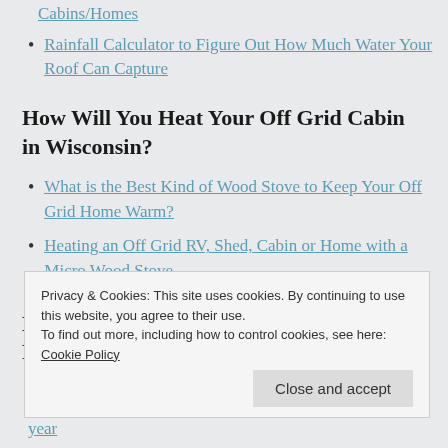Cabins/Homes
Rainfall Calculator to Figure Out How Much Water Your Roof Can Capture
How Will You Heat Your Off Grid Cabin in Wisconsin?
What is the Best Kind of Wood Stove to Keep Your Off Grid Home Warm?
Heating an Off Grid RV, Shed, Cabin or Home with a Micro Wood Stove
How Will You Provide Food for Your Family in Wisconsin?
Privacy & Cookies: This site uses cookies. By continuing to use this website, you agree to their use.
To find out more, including how to control cookies, see here: Cookie Policy
Close and accept